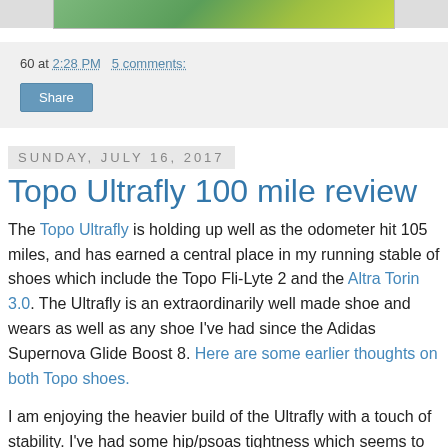[Figure (photo): Partial top strip of a shoe or running-related photo with green/yellow colors]
60 at 2:28 PM    5 comments:
Share
Sunday, July 16, 2017
Topo Ultrafly 100 mile review
The Topo Ultrafly is holding up well as the odometer hit 105 miles, and has earned a central place in my running stable of shoes which include the Topo Fli-Lyte 2 and the Altra Torin 3.0. The Ultrafly is an extraordinarily well made shoe and wears as well as any shoe I've had since the Adidas Supernova Glide Boost 8. Here are some earlier thoughts on both Topo shoes.
I am enjoying the heavier build of the Ultrafly with a touch of stability. I've had some hip/psoas tightness which seems to benefit from a more built up shoe, and the Ultrafly is doing